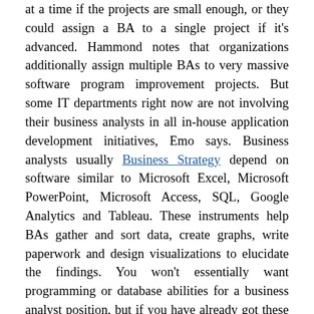at a time if the projects are small enough, or they could assign a BA to a single project if it's advanced. Hammond notes that organizations additionally assign multiple BAs to very massive software program improvement projects. But some IT departments right now are not involving their business analysts in all in-house application development initiatives, Emo says. Business analysts usually Business Strategy depend on software similar to Microsoft Excel, Microsoft PowerPoint, Microsoft Access, SQL, Google Analytics and Tableau. These instruments help BAs gather and sort data, create graphs, write paperwork and design visualizations to elucidate the findings. You won't essentially want programming or database abilities for a business analyst position, but if you have already got these expertise, they won't damage.
This figure plots the share of firms in each employment class for the 2017 Census of US Businesses and the survey respondents. The sample dimension for the survey is 4,873.